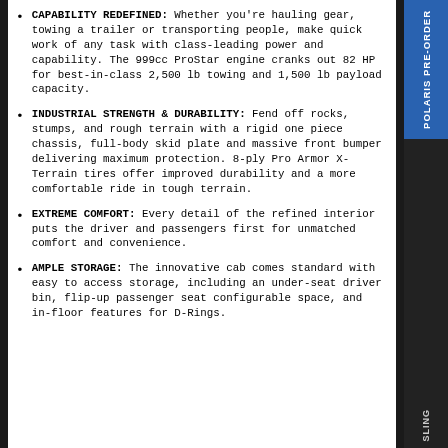CAPABILITY REDEFINED: Whether you're hauling gear, towing a trailer or transporting people, make quick work of any task with class-leading power and capability. The 999cc ProStar engine cranks out 82 HP for best-in-class 2,500 lb towing and 1,500 lb payload capacity.
INDUSTRIAL STRENGTH & DURABILITY: Fend off rocks, stumps, and rough terrain with a rigid one piece chassis, full-body skid plate and massive front bumper delivering maximum protection. 8-ply Pro Armor X-Terrain tires offer improved durability and a more comfortable ride in tough terrain.
EXTREME COMFORT: Every detail of the refined interior puts the driver and passengers first for unmatched comfort and convenience.
AMPLE STORAGE: The innovative cab comes standard with easy to access storage, including an under-seat driver bin, flip-up passenger seat configurable space, and in-floor features for D-Rings.